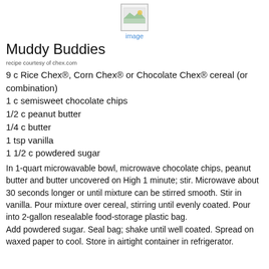[Figure (illustration): Broken image placeholder icon with 'image' label below]
Muddy Buddies
recipe courtesy of chex.com
9 c Rice Chex®, Corn Chex® or Chocolate Chex® cereal (or combination)
1 c semisweet chocolate chips
1/2 c peanut butter
1/4 c butter
1 tsp vanilla
1 1/2 c powdered sugar
In 1-quart microwavable bowl, microwave chocolate chips, peanut butter and butter uncovered on High 1 minute; stir. Microwave about 30 seconds longer or until mixture can be stirred smooth. Stir in vanilla. Pour mixture over cereal, stirring until evenly coated. Pour into 2-gallon resealable food-storage plastic bag. Add powdered sugar. Seal bag; shake until well coated. Spread on waxed paper to cool. Store in airtight container in refrigerator.